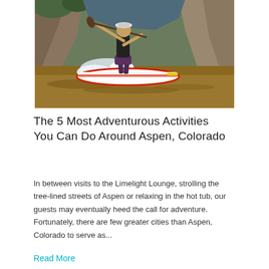[Figure (photo): A person stand-up paddleboarding on a fast-moving brown river with rocky canyon walls and green trees in the background. The paddler is wearing a hat and shorts, using a long paddle, and riding on a red and white inflatable SUP board through rapids.]
The 5 Most Adventurous Activities You Can Do Around Aspen, Colorado
In between visits to the Limelight Lounge, strolling the tree-lined streets of Aspen or relaxing in the hot tub, our guests may eventually heed the call for adventure. Fortunately, there are few greater cities than Aspen, Colorado to serve as...
Read More